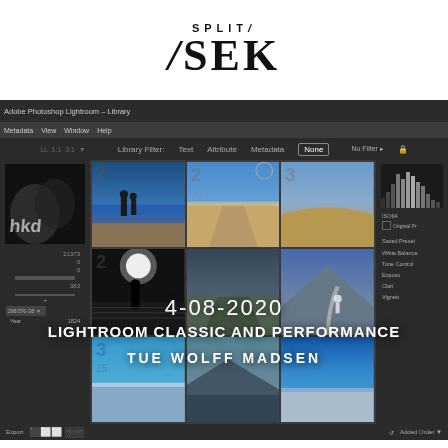SPLIT SEK
[Figure (screenshot): Adobe Photoshop Lightroom - Library module screenshot showing a grid view of landscape and travel photographs, with Library Filter bar showing Text/Attribute/Metadata/None options. Left panel shows a black and white thumbnail and statistics. Right panel shows histogram and controls including ISO64, Original Preview, Saved Preset, White Balance, Tone Control, Exposure, Clarity. Bottom bar shows export controls. Nine photo thumbnails visible in grid showing beach, ocean, desert and road scenes.]
4-08-2020
LIGHTROOM CLASSIC AND PERFORMANCE
TUE WOLFF MADSEN